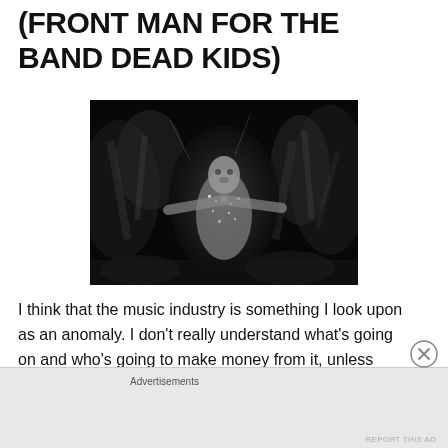(FRONT MAN FOR THE BAND DEAD KIDS)
[Figure (photo): Black and white blurred concert photo of a performer with arms outstretched in a sparkling jacket, surrounded by crowd members in motion blur]
I think that the music industry is something I look upon as an anomaly. I don't really understand what's going on and who's going to make money from it, unless you're a massive pop artist.  It just seems to be about money full-
Advertisements